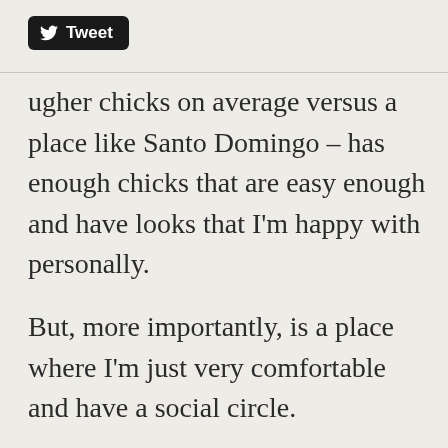[Figure (logo): Twitter Tweet button with bird logo, black rounded rectangle]
ugher chicks on average versus a place like Santo Domingo – has enough chicks that are easy enough and have looks that I'm happy with personally.
But, more importantly, is a place where I'm just very comfortable and have a social circle.
So why give it up?